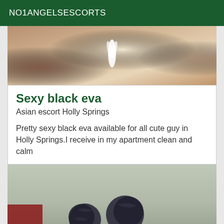NO1ANGELSESCORTS
[Figure (photo): Cropped photo showing blond hair and partial figure against a dotted/textured background with a white feather decoration]
Sexy black eva
Asian escort Holly Springs
Pretty sexy black eva available for all cute guy in Holly Springs.I receive in my apartment clean and calm
[Figure (photo): Photo of a person with dark braided hair styled in two buns/puffs, with a red object visible at the bottom left]